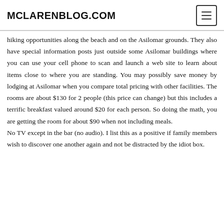MCLARENBLOG.COM
hiking opportunities along the beach and on the Asilomar grounds. They also have special information posts just outside some Asilomar buildings where you can use your cell phone to scan and launch a web site to learn about items close to where you are standing.
You may possibly save money by lodging at Asilomar when you compare total pricing with other facilities. The rooms are about $130 for 2 people (this price can change) but this includes a terrific breakfast valued around $20 for each person. So doing the math, you are getting the room for about $90 when not including meals.
No TV except in the bar (no audio). I list this as a positive if family members wish to discover one another again and not be distracted by the idiot box.